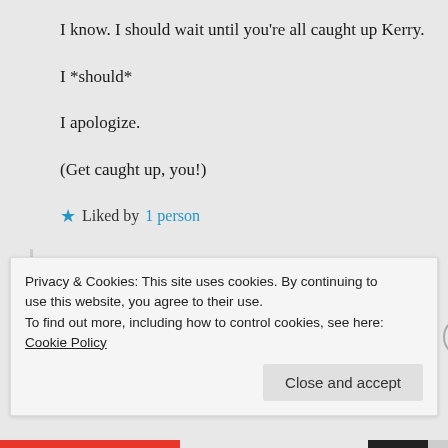I know. I should wait until you're all caught up Kerry.
I *should*
I apologize.
(Get caught up, you!)
★ Liked by 1 person
Log in to Reply
Privacy & Cookies: This site uses cookies. By continuing to use this website, you agree to their use.
To find out more, including how to control cookies, see here: Cookie Policy
Close and accept